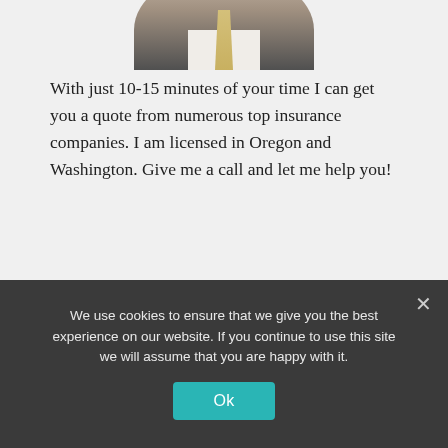[Figure (photo): Partial circular photo of a man in a suit and tie, cropped at the top of the page]
With just 10-15 minutes of your time I can get you a quote from numerous top insurance companies. I am licensed in Oregon and Washington. Give me a call and let me help you!
As an Independent Agent I am not employed by any insurance company. This means that I can freely choose the best policy
We use cookies to ensure that we give you the best experience on our website. If you continue to use this site we will assume that you are happy with it.